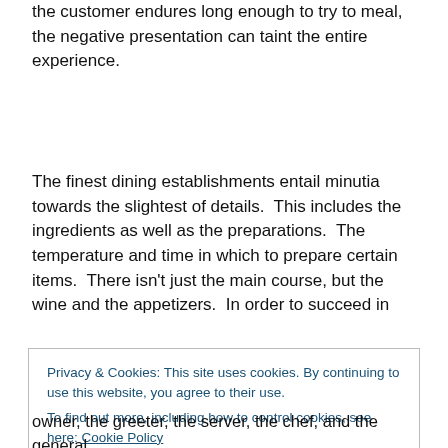the customer endures long enough to try to meal, the negative presentation can taint the entire experience.
The finest dining establishments entail minutia towards the slightest of details.  This includes the ingredients as well as the preparations.  The temperature and time in which to prepare certain items.  There isn't just the main course, but the wine and the appetizers.  In order to succeed in
Privacy & Cookies: This site uses cookies. By continuing to use this website, you agree to their use.
To find out more, including how to control cookies, see here: Cookie Policy
owner, the greeter, the server, the chef, and the general